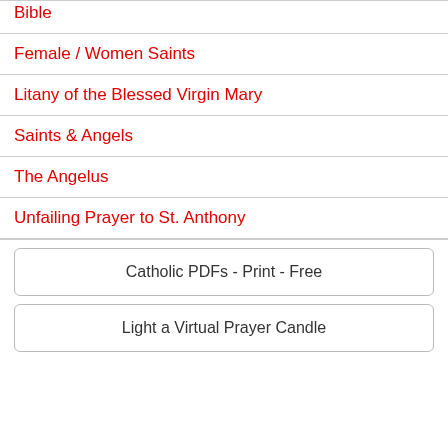Bible
Female / Women Saints
Litany of the Blessed Virgin Mary
Saints & Angels
The Angelus
Unfailing Prayer to St. Anthony
Catholic PDFs - Print - Free
Light a Virtual Prayer Candle